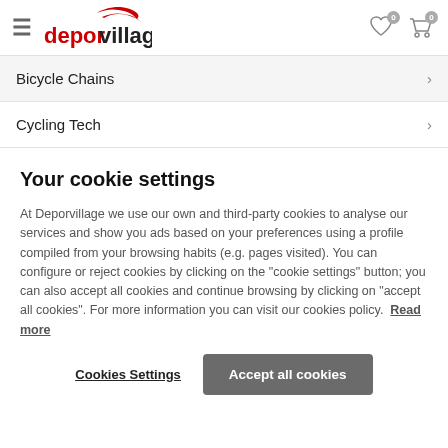deporvillage — Bicycle Chains, Cycling Tech navigation header
Bicycle Chains
Cycling Tech
Your cookie settings
At Deporvillage we use our own and third-party cookies to analyse our services and show you ads based on your preferences using a profile compiled from your browsing habits (e.g. pages visited). You can configure or reject cookies by clicking on the "cookie settings" button; you can also accept all cookies and continue browsing by clicking on "accept all cookies". For more information you can visit our cookies policy. Read more
Cookies Settings | Accept all cookies